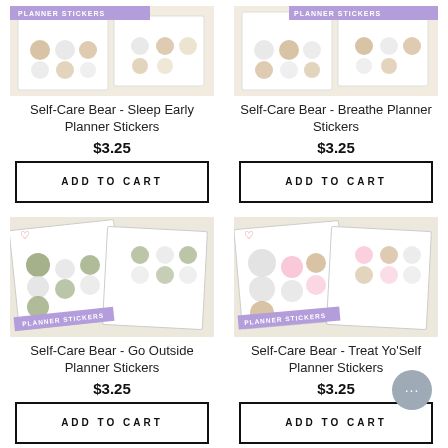[Figure (screenshot): Product image for Self-Care Bear Sleep Early Planner Stickers with purple PLANNER STICKERS badge]
Self-Care Bear - Sleep Early Planner Stickers
$3.25
ADD TO CART
[Figure (screenshot): Product image for Self-Care Bear Breathe Planner Stickers with purple PLANNER STICKERS badge]
Self-Care Bear - Breathe Planner Stickers
$3.25
ADD TO CART
[Figure (screenshot): Product image for Self-Care Bear Go Outside Planner Stickers showing bear stickers on sheet with purple PLANNER STICKERS badge and heart icon]
Self-Care Bear - Go Outside Planner Stickers
$3.25
ADD TO CART
[Figure (screenshot): Product image for Self-Care Bear Treat Yo'Self Planner Stickers showing panda and bear stickers with purple PLANNER STICKERS badge and heart icon]
Self-Care Bear - Treat Yo'Self Planner Stickers
$3.25
ADD TO CART